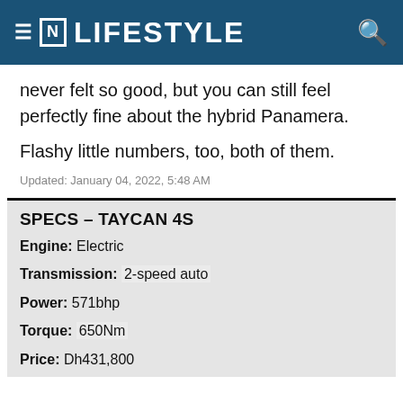[N] LIFESTYLE
never felt so good, but you can still feel perfectly fine about the hybrid Panamera.
Flashy little numbers, too, both of them.
Updated: January 04, 2022, 5:48 AM
SPECS – TAYCAN 4S
Engine: Electric
Transmission: 2-speed auto
Power: 571bhp
Torque: 650Nm
Price: Dh431,800